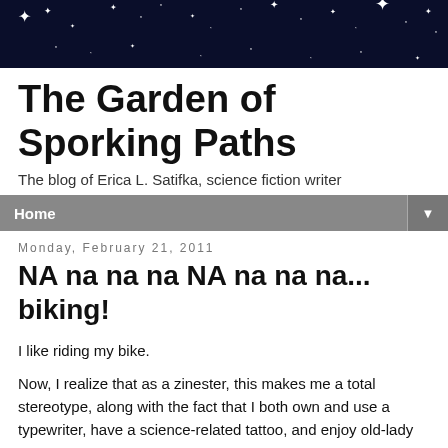[Figure (photo): Dark night sky banner with stars and sparkles on a dark navy/black background]
The Garden of Sporking Paths
The blog of Erica L. Satifka, science fiction writer
Home ▼
Monday, February 21, 2011
NA na na na NA na na na... biking!
I like riding my bike.
Now, I realize that as a zinester, this makes me a total stereotype, along with the fact that I both own and use a typewriter, have a science-related tattoo, and enjoy old-lady crafts like knitting. I also don't feel it necessary to point out all the ways in which I defy the zinester stereotype, seeing as how such proclamations are themselves part of the zinester